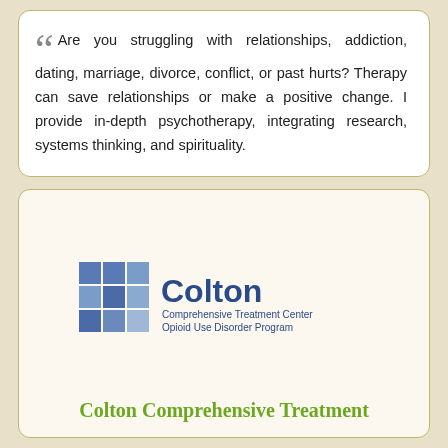Are you struggling with relationships, addiction, dating, marriage, divorce, conflict, or past hurts? Therapy can save relationships or make a positive change. I provide in-depth psychotherapy, integrating research, systems thinking, and spirituality.
[Figure (logo): Colton Comprehensive Treatment Center Opioid Use Disorder Program logo — blue mosaic cross/plus icon on left, 'Colton' in large blue text on right, with subtitle 'Comprehensive Treatment Center / Opioid Use Disorder Program' in smaller blue text]
Colton Comprehensive Treatment